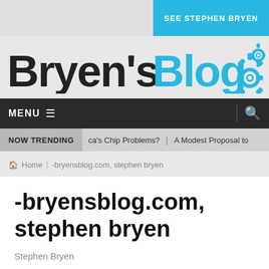SEE STEPHEN BRYEN
[Figure (logo): Bryen's Blog logo with gear icons. 'Bryen's' in dark/black and 'Blog' in cyan/blue, with blue gear icons to the right.]
MENU
NOW TRENDING   ca's Chip Problems?   A Modest Proposal to
Home   -bryensblog.com, stephen bryen
-bryensblog.com, stephen bryen
Stephen Bryen